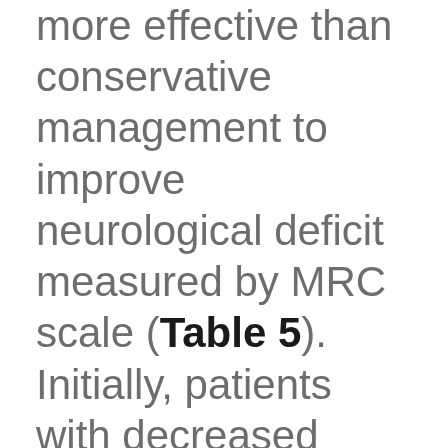more effective than conservative management to improve neurological deficit measured by MRC scale (Table 5). Initially, patients with decreased MRC scale and rapidly progressing neurological deficit underwent emergency surgery within 24 hours. Patients with intact MRC scale and...